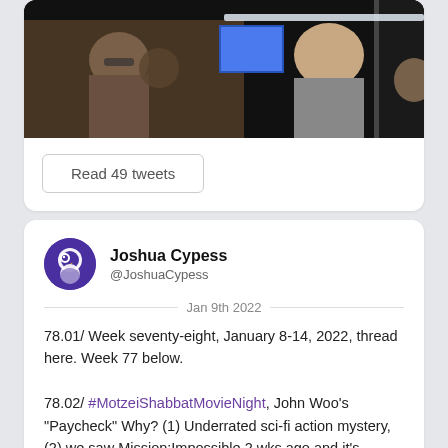[Figure (photo): A dark movie still showing people standing near what appears to be an elevator with a blue screen visible in the background.]
Read 49 tweets
Joshua Cypess
@JoshuaCypess
Jan 9th 2022
78.01/ Week seventy-eight, January 8-14, 2022, thread here. Week 77 below.

78.02/ #MotzeiShabbatMovieNight, John Woo's "Paycheck" Why? (1) Underrated sci-fi action mystery, (2) we saw Mission:Impossible 2 wks ago and it's sequel is by